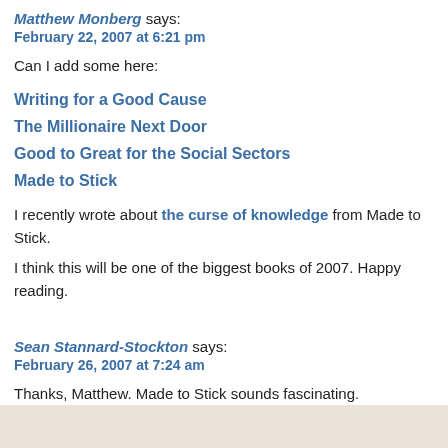Matthew Monberg says:
February 22, 2007 at 6:21 pm
Can I add some here:
Writing for a Good Cause
The Millionaire Next Door
Good to Great for the Social Sectors
Made to Stick
I recently wrote about the curse of knowledge from Made to Stick. I think this will be one of the biggest books of 2007. Happy reading.
Sean Stannard-Stockton says:
February 26, 2007 at 7:24 am
Thanks, Matthew. Made to Stick sounds fascinating.